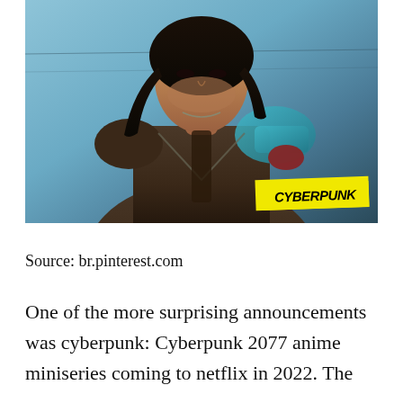[Figure (photo): Screenshot from Cyberpunk 2077 game showing a male character with long dark hair, wearing tactical gear, with a yellow Cyberpunk logo badge in the bottom right corner. Background shows a blue sky and industrial structures.]
Source: br.pinterest.com
One of the more surprising announcements was cyberpunk: Cyberpunk 2077 anime miniseries coming to netflix in 2022. The